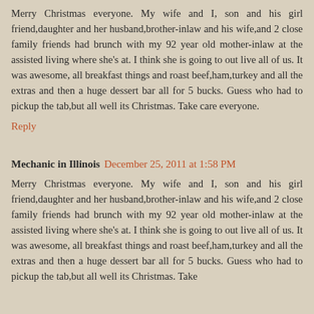Merry Christmas everyone. My wife and I, son and his girl friend,daughter and her husband,brother-inlaw and his wife,and 2 close family friends had brunch with my 92 year old mother-inlaw at the assisted living where she's at. I think she is going to out live all of us. It was awesome, all breakfast things and roast beef,ham,turkey and all the extras and then a huge dessert bar all for 5 bucks. Guess who had to pickup the tab,but all well its Christmas. Take care everyone.
Reply
Mechanic in Illinois  December 25, 2011 at 1:58 PM
Merry Christmas everyone. My wife and I, son and his girl friend,daughter and her husband,brother-inlaw and his wife,and 2 close family friends had brunch with my 92 year old mother-inlaw at the assisted living where she's at. I think she is going to out live all of us. It was awesome, all breakfast things and roast beef,ham,turkey and all the extras and then a huge dessert bar all for 5 bucks. Guess who had to pickup the tab,but all well its Christmas. Take